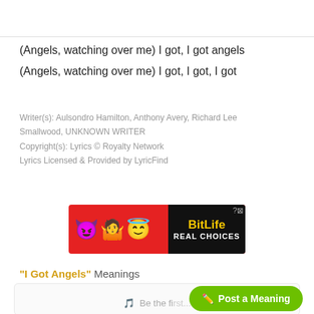(Angels, watching over me) I got, I got angels
(Angels, watching over me) I got, I got, I got
Writer(s): Aulsondro Hamilton, Anthony Avery, Richard Lee Smallwood, UNKNOWN WRITER
Copyright(s): Lyrics © Royalty Network
Lyrics Licensed & Provided by LyricFind
[Figure (other): BitLife advertisement banner with devil, angel and person emojis on red background, with REAL CHOICES tagline on black panel]
"I Got Angels" Meanings
Post a Meaning
Be the fi...